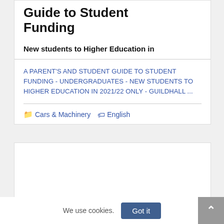Guide to Student Funding
New students to Higher Education in
A PARENT'S AND STUDENT GUIDE TO STUDENT FUNDING - UNDERGRADUATES - NEW STUDENTS TO HIGHER EDUCATION IN 2021/22 ONLY - GUILDHALL ...
Cars & Machinery   English
[Figure (other): Empty white card area below the first result card]